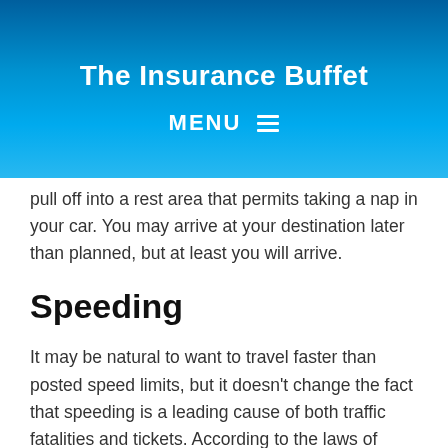The Insurance Buffet
MENU
pull off into a rest area that permits taking a nap in your car. You may arrive at your destination later than planned, but at least you will arrive.
Speeding
It may be natural to want to travel faster than posted speed limits, but it doesn’t change the fact that speeding is a leading cause of both traffic fatalities and tickets. According to the laws of physics, the faster you are